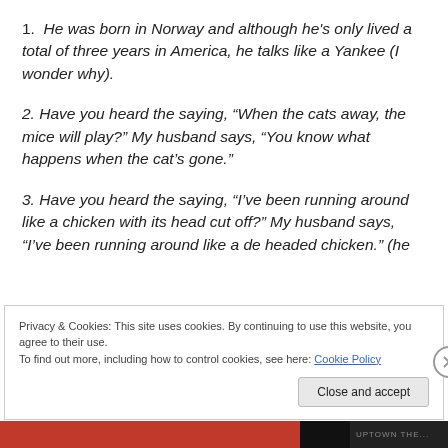1. He was born in Norway and although he's only lived a total of three years in America, he talks like a Yankee (I wonder why).
2. Have you heard the saying, “When the cats away, the mice will play?” My husband says, “You know what happens when the cat’s gone.”
3. Have you heard the saying, “I’ve been running around like a chicken with its head cut off?” My husband says, “I’ve been running around like a de headed chicken.” (he
Privacy & Cookies: This site uses cookies. By continuing to use this website, you agree to their use.
To find out more, including how to control cookies, see here: Cookie Policy
Close and accept